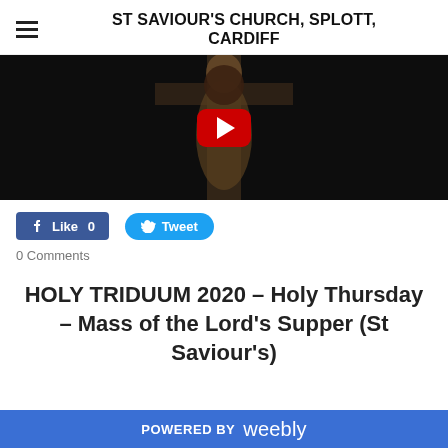ST SAVIOUR'S CHURCH, SPLOTT, CARDIFF
[Figure (screenshot): YouTube video thumbnail showing a crucifix figure on a dark background with a red YouTube play button overlay]
[Figure (infographic): Facebook Like button showing 'Like 0' in blue]
[Figure (infographic): Twitter Tweet button in blue rounded pill shape]
0 Comments
HOLY TRIDUUM 2020 – Holy Thursday – Mass of the Lord's Supper (St Saviour's)
POWERED BY weebly